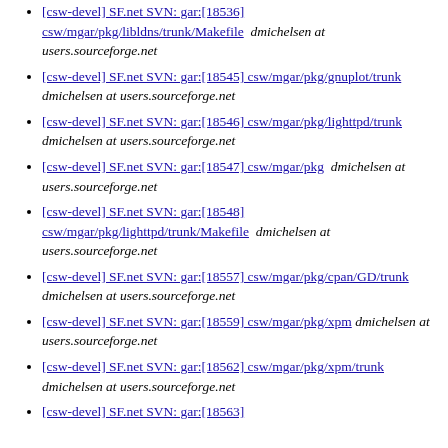[csw-devel] SF.net SVN: gar:[18536] csw/mgar/pkg/libldns/trunk/Makefile  dmichelsen at users.sourceforge.net
[csw-devel] SF.net SVN: gar:[18545] csw/mgar/pkg/gnuplot/trunk  dmichelsen at users.sourceforge.net
[csw-devel] SF.net SVN: gar:[18546] csw/mgar/pkg/lighttpd/trunk  dmichelsen at users.sourceforge.net
[csw-devel] SF.net SVN: gar:[18547] csw/mgar/pkg  dmichelsen at users.sourceforge.net
[csw-devel] SF.net SVN: gar:[18548] csw/mgar/pkg/lighttpd/trunk/Makefile  dmichelsen at users.sourceforge.net
[csw-devel] SF.net SVN: gar:[18557] csw/mgar/pkg/cpan/GD/trunk  dmichelsen at users.sourceforge.net
[csw-devel] SF.net SVN: gar:[18559] csw/mgar/pkg/xpm  dmichelsen at users.sourceforge.net
[csw-devel] SF.net SVN: gar:[18562] csw/mgar/pkg/xpm/trunk  dmichelsen at users.sourceforge.net
[csw-devel] SF.net SVN: gar:[18563]